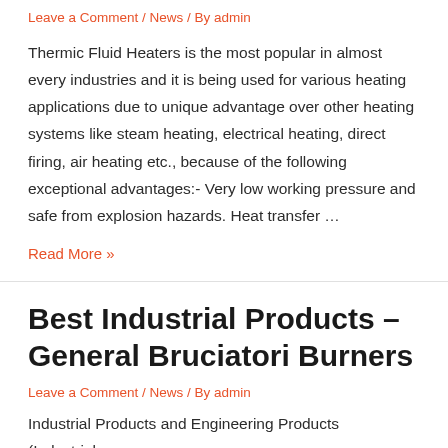Leave a Comment / News / By admin
Thermic Fluid Heaters is the most popular in almost every industries and it is being used for various heating applications due to unique advantage over other heating systems like steam heating, electrical heating, direct firing, air heating etc., because of the following exceptional advantages:- Very low working pressure and safe from explosion hazards. Heat transfer …
Read More »
Best Industrial Products – General Bruciatori Burners
Leave a Comment / News / By admin
Industrial Products and Engineering Products (Industrial…